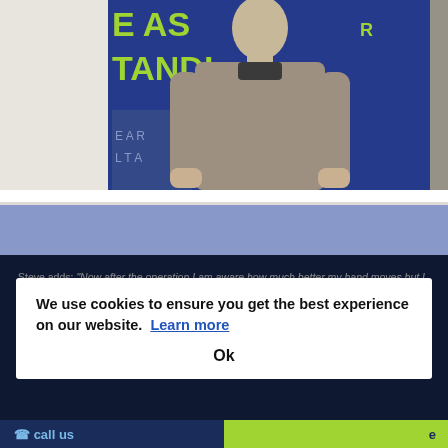[Figure (photo): Photo of a person wearing a grey/tan sweater standing in front of a blue banner with partial text 'E AS' and 'TANDI' visible in yellow-green letters. Background shows a retail or exhibition environment.]
Steve adds: "Now after the operation I am aware how much better my hand moves but I did not feel that playing rugby by myself now - I remember thinking it was an overkill and I had trepidation as I thought it was too soon because of the stitching..."
We use cookies to ensure you get the best experience on our website.  Learn more
Ok